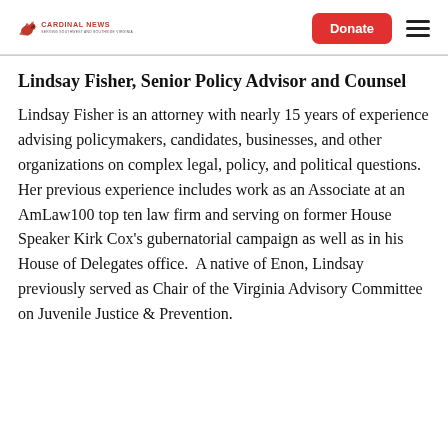Cardinal News | Donate
Lindsay Fisher, Senior Policy Advisor and Counsel
Lindsay Fisher is an attorney with nearly 15 years of experience advising policymakers, candidates, businesses, and other organizations on complex legal, policy, and political questions.  Her previous experience includes work as an Associate at an AmLaw100 top ten law firm and serving on former House Speaker Kirk Cox's gubernatorial campaign as well as in his House of Delegates office.  A native of Enon, Lindsay previously served as Chair of the Virginia Advisory Committee on Juvenile Justice & Prevention.